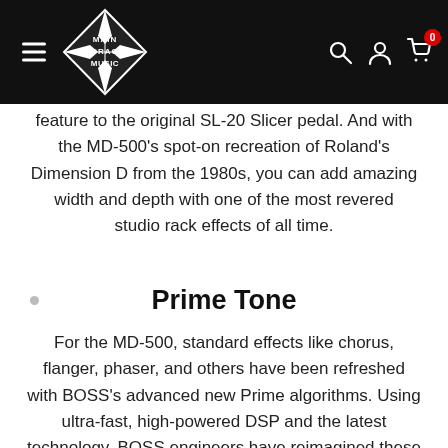[Figure (logo): Main Drag Music logo — diamond shape with star points, white on black, text reads MAIN DRAG MUSIC]
feature to the original SL-20 Slicer pedal. And with the MD-500’s spot-on recreation of Roland’s Dimension D from the 1980s, you can add amazing width and depth with one of the most revered studio rack effects of all time.
Prime Tone
For the MD-500, standard effects like chorus, flanger, phaser, and others have been refreshed with BOSS’s advanced new Prime algorithms. Using ultra-fast, high-powered DSP and the latest technology, BOSS engineers have reimagined these essential effects for enhanced expression, extended range, and maximum